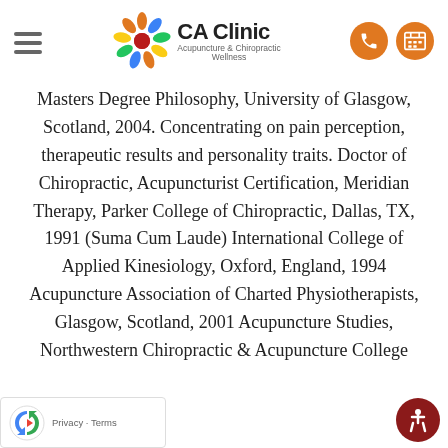[Figure (logo): CA Clinic logo with colorful flower/starburst icon and text 'CA Clinic Acupuncture & Chiropractic Wellness']
Masters Degree Philosophy, University of Glasgow, Scotland, 2004. Concentrating on pain perception, therapeutic results and personality traits. Doctor of Chiropractic, Acupuncturist Certification, Meridian Therapy, Parker College of Chiropractic, Dallas, TX, 1991 (Suma Cum Laude) International College of Applied Kinesiology, Oxford, England, 1994 Acupuncture Association of Charted Physiotherapists, Glasgow, Scotland, 2001 Acupuncture Studies, Northwestern Chiropractic & Acupuncture College